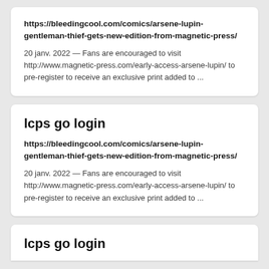https://bleedingcool.com/comics/arsene-lupin-gentleman-thief-gets-new-edition-from-magnetic-press/
20 janv. 2022 — Fans are encouraged to visit http://www.magnetic-press.com/early-access-arsene-lupin/ to pre-register to receive an exclusive print added to ...
lcps go login
https://bleedingcool.com/comics/arsene-lupin-gentleman-thief-gets-new-edition-from-magnetic-press/
20 janv. 2022 — Fans are encouraged to visit http://www.magnetic-press.com/early-access-arsene-lupin/ to pre-register to receive an exclusive print added to ...
lcps go login